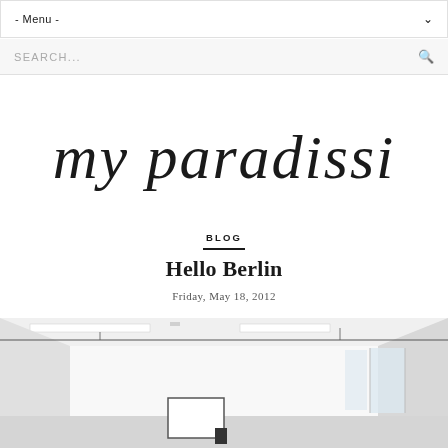- Menu -
SEARCH...
[Figure (logo): Handwritten cursive script logo reading 'my paradissi' in black ink on white background]
BLOG
Hello Berlin
Friday, May 18, 2012
[Figure (photo): Interior photograph of a bright white room or corridor with fluorescent ceiling lights, white walls, large windows on the right side, and a framed white board or sign visible in the lower center. Industrial or studio-like space.]